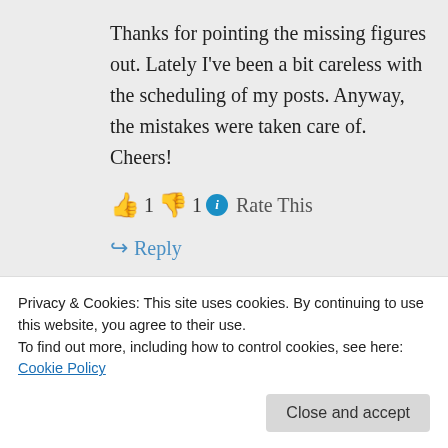Thanks for pointing the missing figures out. Lately I've been a bit careless with the scheduling of my posts. Anyway, the mistakes were taken care of. Cheers!
👍 1 👎 1 ℹ Rate This
↪ Reply
Privacy & Cookies: This site uses cookies. By continuing to use this website, you agree to their use. To find out more, including how to control cookies, see here: Cookie Policy
not get any yes, now it gives the